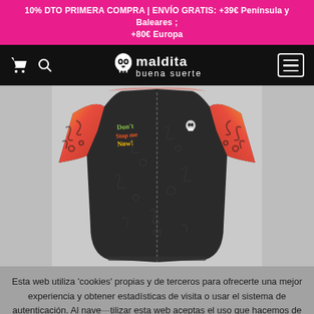10% DTO PRIMERA COMPRA | ENVÍO GRATIS: +39€ Península y Baleares ; +80€ Europa
[Figure (logo): Maldita Buena Suerte logo with skull icon, white text on black navigation bar]
[Figure (photo): Cycling jersey product photo - dark/black base with colorful orange, red, pink graphic print on sleeves and shoulders, 'Don't Stop Me Now' text on front, zipper visible, displayed on white/grey background]
Esta web utiliza 'cookies' propias y de terceros para ofrecerte una mejor experiencia y obtener estadísticas de visita o usar el sistema de autenticación. Al navegar o utilizar esta web aceptas el uso que hacemos de las 'cookies'. cerrar
MAILLOT CORTO DON'T STO...